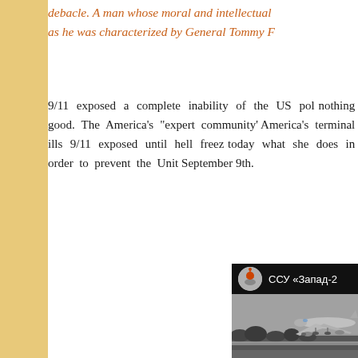debacle. A man whose moral and intellectual... as he was characterized by General Tommy F...
9/11 exposed a complete inability of the US pol... nothing good. The America's "expert community"... America's terminal ills 9/11 exposed until hell freez... today what she does in order to prevent the Unit... September 9th.
[Figure (photo): Screenshot of a Russian military social media post (ССУ «Запад-2») showing a large military transport aircraft (IL-76 or similar) landing or taking off, with trees and airport infrastructure visible in the background. The post header shows a military emblem avatar and Cyrillic text.]